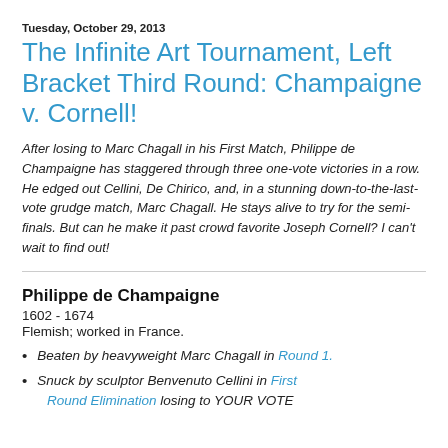Tuesday, October 29, 2013
The Infinite Art Tournament, Left Bracket Third Round: Champaigne v. Cornell!
After losing to Marc Chagall in his First Match, Philippe de Champaigne has staggered through three one-vote victories in a row. He edged out Cellini, De Chirico, and, in a stunning down-to-the-last-vote grudge match, Marc Chagall. He stays alive to try for the semi-finals. But can he make it past crowd favorite Joseph Cornell? I can't wait to find out!
Philippe de Champaigne
1602 - 1674
Flemish; worked in France.
Beaten by heavyweight Marc Chagall in Round 1.
Snuck by sculptor Benvenuto Cellini in First Round Elimination losing to YOUR VOTE